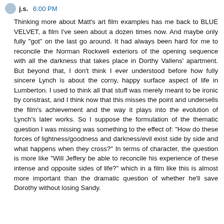j.s. 6:00 PM
Thinking more about Matt's art film examples has me back to BLUE VELVET, a film I've seen about a dozen times now. And maybe only fully "got" on the last go around. It had always been hard for me to reconcile the Norman Rockwell exteriors of the opening sequence with all the darkness that takes place in Dorthy Vallens' apartment. But beyond that, I don't think I ever understood before how fully sincere Lynch is about the corny, happy surface aspect of life in Lumberton. I used to think all that stuff was merely meant to be ironic by constrast, and I think now that this misses the point and undersells the film's achievement and the way it plays into the evolution of Lynch's later works. So I suppose the formulation of the thematic question I was missing was something to the effect of: "How do these forces of lightness/goodness and darkness/evil exist side by side and what happens when they cross?" In terms of character, the question is more like "Will Jeffery be able to reconcile his experience of these intense and opposite sides of life?" which in a film like this is almost more important than the dramatic question of whether he'll save Dorothy without losing Sandy.